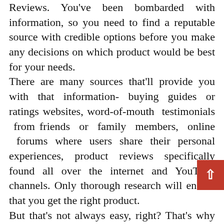Reviews. You've been bombarded with information, so you need to find a reputable source with credible options before you make any decisions on which product would be best for your needs. There are many sources that'll provide you with that information- buying guides or ratings websites, word-of-mouth testimonials from friends or family members, online forums where users share their personal experiences, product reviews specifically found all over the internet and YouTube channels. Only thorough research will ensure that you get the right product. But that's not always easy, right? That's why we've taken time to compile a list of the best Pentax Lens For Astrophotography in today's market, on your behalf, so that there will be no more worries for you. How did we come up with the list, you ask? How did we create this buying guide?